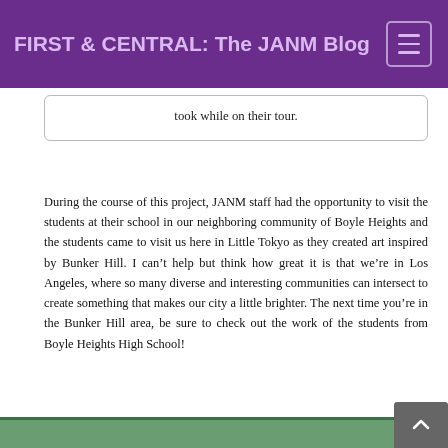FIRST & CENTRAL: The JANM Blog
took while on their tour.
During the course of this project, JANM staff had the opportunity to visit the students at their school in our neighboring community of Boyle Heights and the students came to visit us here in Little Tokyo as they created art inspired by Bunker Hill. I can't help but think how great it is that we're in Los Angeles, where so many diverse and interesting communities can intersect to create something that makes our city a little brighter. The next time you're in the Bunker Hill area, be sure to check out the work of the students from Boyle Heights High School!
[Figure (photo): Bottom edge of a photo showing green trees/outdoor scene, partially visible at the bottom of the page.]